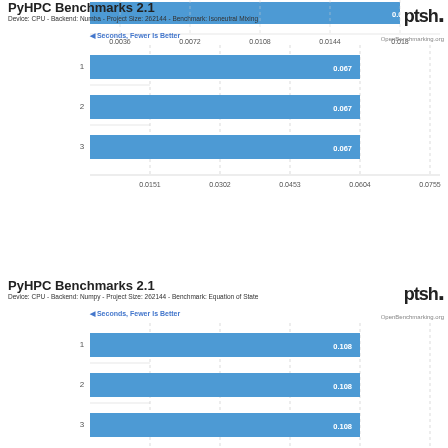[Figure (bar-chart): PyHPC Benchmarks 2.1 - Device: CPU - Backend: Numba - Project Size: 262144 - Benchmark: Isoneutral Mixing]
[Figure (bar-chart): PyHPC Benchmarks 2.1 - Device: CPU - Backend: Numpy - Project Size: 262144 - Benchmark: Equation of State]